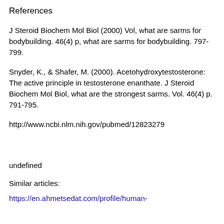References
J Steroid Biochem Mol Biol (2000) Vol, what are sarms for bodybuilding. 46(4) p, what are sarms for bodybuilding. 797-799.
Snyder, K., & Shafer, M. (2000). Acetohydroxytestosterone: The active principle in testosterone enanthate. J Steroid Biochem Mol Biol, what are the strongest sarms. Vol. 46(4) p. 791-795.
http://www.ncbi.nlm.nih.gov/pubmed/12823279
undefined
Similar articles:
https://en.ahmetsedat.com/profile/human-